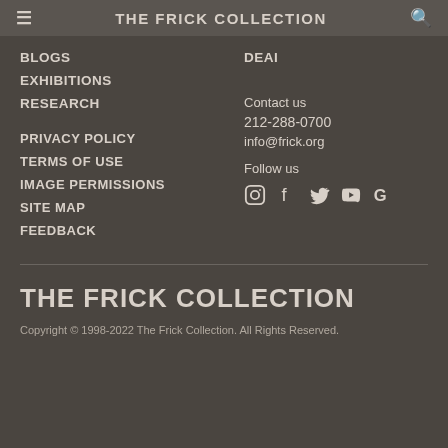THE FRICK COLLECTION
BLOGS
EXHIBITIONS
RESEARCH
DEAI
PRIVACY POLICY
TERMS OF USE
IMAGE PERMISSIONS
SITE MAP
FEEDBACK
Contact us
212-288-0700
info@frick.org
Follow us
THE FRICK COLLECTION
Copyright © 1998-2022 The Frick Collection. All Rights Reserved.